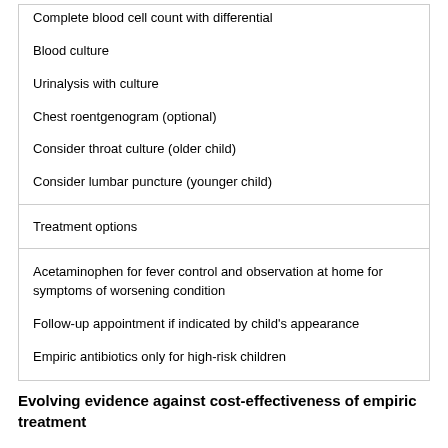Complete blood cell count with differential
Blood culture
Urinalysis with culture
Chest roentgenogram (optional)
Consider throat culture (older child)
Consider lumbar puncture (younger child)
Treatment options
Acetaminophen for fever control and observation at home for symptoms of worsening condition
Follow-up appointment if indicated by child's appearance
Empiric antibiotics only for high-risk children
Evolving evidence against cost-effectiveness of empiric treatment